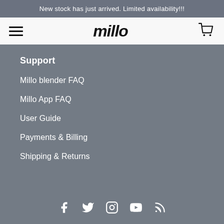New stock has just arrived. Limited availability!!!
[Figure (screenshot): Navigation bar with hamburger menu, Millo logo, and cart icon]
Support
Millo blender FAQ
Millo App FAQ
User Guide
Payments & Billing
Shipping & Returns
[Figure (infographic): Social media icons: Facebook, Twitter, Instagram, YouTube, RSS]